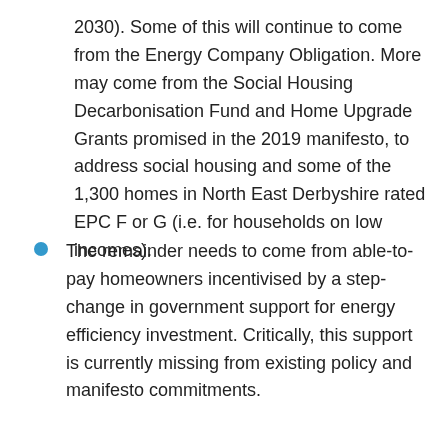2030). Some of this will continue to come from the Energy Company Obligation. More may come from the Social Housing Decarbonisation Fund and Home Upgrade Grants promised in the 2019 manifesto, to address social housing and some of the 1,300 homes in North East Derbyshire rated EPC F or G (i.e. for households on low incomes).
The remainder needs to come from able-to-pay homeowners incentivised by a step-change in government support for energy efficiency investment. Critically, this support is currently missing from existing policy and manifesto commitments.